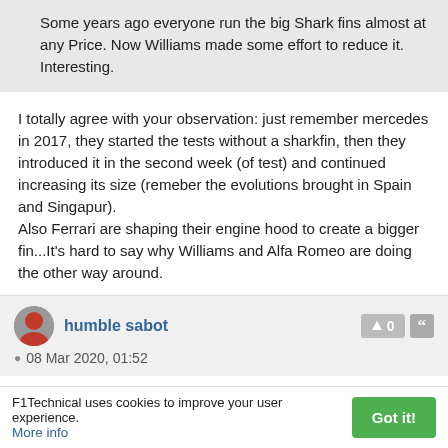Some years ago everyone run the big Shark fins almost at any Price. Now Williams made some effort to reduce it. Interesting.
I totally agree with your observation: just remember mercedes in 2017, they started the tests without a sharkfin, then they introduced it in the second week (of test) and continued increasing its size (remeber the evolutions brought in Spain and Singapur).
Also Ferrari are shaping their engine hood to create a bigger fin...It's hard to say why Williams and Alfa Romeo are doing the other way around.
humble sabot
08 Mar 2020, 01:52
F1Technical uses cookies to improve your user experience. More info